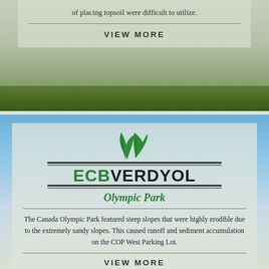of placing topsoil were difficult to utilize.
VIEW MORE
[Figure (logo): ECB Verdyol logo with two green leaves above bold text ECB in green and VERDYOL in black, with horizontal lines above and below the text]
Olympic Park
The Canada Olympic Park featured steep slopes that were highly erodible due to the extremely sandy slopes. This caused runoff and sediment accumulation on the COP West Parking Lot.
VIEW MORE